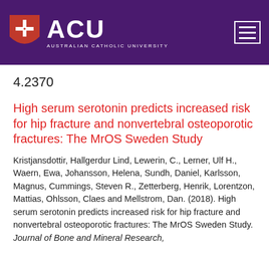[Figure (logo): Australian Catholic University (ACU) logo with shield icon and university name on purple header background with hamburger menu icon]
4.2370
High serum serotonin predicts increased risk for hip fracture and nonvertebral osteoporotic fractures: The MrOS Sweden Study
Kristjansdottir, Hallgerdur Lind, Lewerin, C., Lerner, Ulf H., Waern, Ewa, Johansson, Helena, Sundh, Daniel, Karlsson, Magnus, Cummings, Steven R., Zetterberg, Henrik, Lorentzon, Mattias, Ohlsson, Claes and Mellstrom, Dan. (2018). High serum serotonin predicts increased risk for hip fracture and nonvertebral osteoporotic fractures: The MrOS Sweden Study. Journal of Bone and Mineral Research, 33(1), pp. 1575–1584. doi:10.1002/jbmr.3461